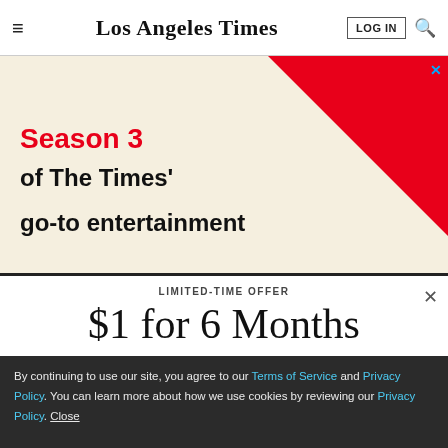Los Angeles Times — LOG IN and search navigation
[Figure (advertisement): Ad banner with cream background and red diagonal stripe. Text: 'Season 3 of The Times' go-to entertainment']
LIMITED-TIME OFFER
$1 for 6 Months
SUBSCRIBE NOW
By continuing to use our site, you agree to our Terms of Service and Privacy Policy. You can learn more about how we use cookies by reviewing our Privacy Policy. Close